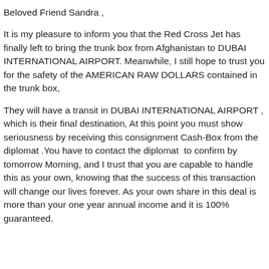Beloved Friend Sandra ,
It is my pleasure to inform you that the Red Cross Jet has finally left to bring the trunk box from Afghanistan to DUBAI INTERNATIONAL AIRPORT. Meanwhile, I still hope to trust you for the safety of the AMERICAN RAW DOLLARS contained in the trunk box,
They will have a transit in DUBAI INTERNATIONAL AIRPORT , which is their final destination, At this point you must show  seriousness by receiving this consignment Cash-Box from the  diplomat .You have to contact the diplomat  to confirm by tomorrow Morning, and I trust that you are capable to handle this as your own, knowing that the success of this transaction will change our lives forever. As your own share in this deal is more than your one year annual income and it is 100%  guaranteed.